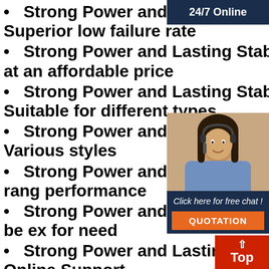Strong Power and Lasting Stability lithium power pack Superior low failure rate
Strong Power and Lasting Stability 11 1 v lithium battery at an affordable price
Strong Power and Lasting Stability lithium battery power Suitable for different types
Strong Power and Lasting Stability lithium battery resource Various styles
Strong Power and Lasting Stability lithium battery pack a wide range performance
Strong Power and Lasting Stability lithium battery pack 18650 be ex for need
Strong Power and Lasting Stability lithium battery importer Online Support
Strong Power and Lasting Stability 3 7v lithium battery Optimal electricity cost
Strong Power and Lasting Stability lithium power pack Easy Installation
Strong Power and Lasting Stability lithium battery bank With Smart Hybrid Inverter
Strong Power and Lasting Stability lithium...
[Figure (infographic): 24/7 Online customer support sidebar with a photo of a woman wearing a headset, a 'Click here for free chat!' message, and an orange QUOTATION button]
[Figure (infographic): Red 'Top' button with upward arrow in bottom-right corner]